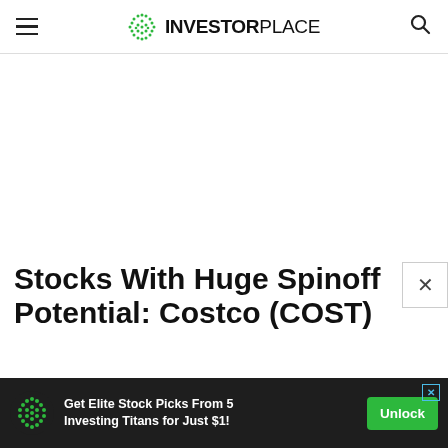INVESTORPLACE
[Figure (other): Large blank white advertisement space placeholder]
Stocks With Huge Spinoff Potential: Costco (COST)
[Figure (other): Bottom advertisement banner: Get Elite Stock Picks From 5 Investing Titans for Just $1! Unlock button]